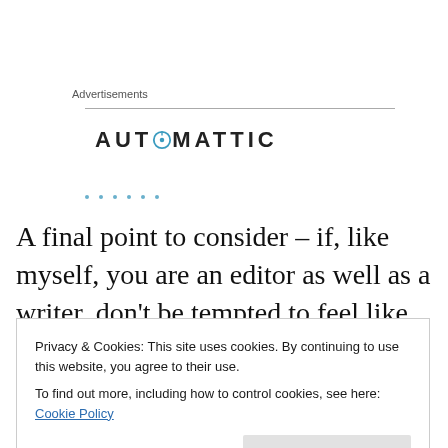Advertisements
[Figure (logo): Automattic logo — wordmark in bold uppercase letters with a compass/circle icon replacing the letter O in AUTOMATTIC]
A final point to consider – if, like myself, you are an editor as well as a writer, don't be tempted to feel like that excuses you from the need to seek out feedback and a
Privacy & Cookies: This site uses cookies. By continuing to use this website, you agree to their use.
To find out more, including how to control cookies, see here: Cookie Policy
Close and accept